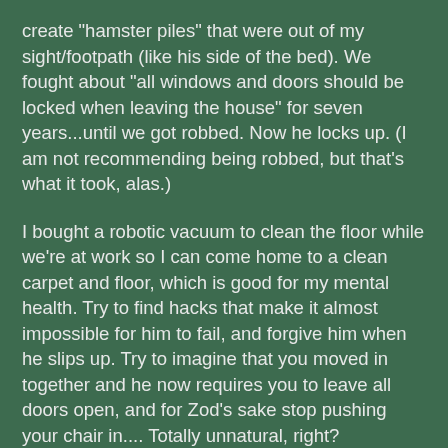create "hamster piles" that were out of my sight/footpath (like his side of the bed). We fought about "all windows and doors should be locked when leaving the house" for seven years...until we got robbed. Now he locks up. (I am not recommending being robbed, but that's what it took, alas.)
I bought a robotic vacuum to clean the floor while we're at work so I can come home to a clean carpet and floor, which is good for my mental health. Try to find hacks that make it almost impossible for him to fail, and forgive him when he slips up. Try to imagine that you moved in together and he now requires you to leave all doors open, and for Zod's sake stop pushing your chair in.... Totally unnatural, right?
I have tried to make things as easy as possible in the house to stay organized, like (almost) everything has a home and lots of things have labels. (There is a pickle shelf in the fridge. ONLY PICKLES LIVE THERE. He can find his favorite pickles easily, for it Winnin!)